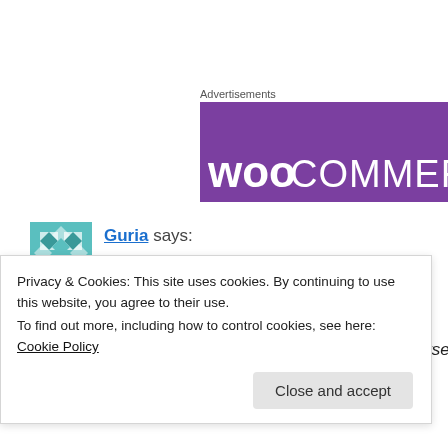Advertisements
[Figure (logo): WooCommerce advertisement banner with purple background and WooCommerce logo text in white]
Guria says:
November 26, 2009 at 5:39 AM
Hey Madhu
Sure… I am always so nice after all, of course, the…
Privacy & Cookies: This site uses cookies. By continuing to use this website, you agree to their use.
To find out more, including how to control cookies, see here: Cookie Policy
Close and accept